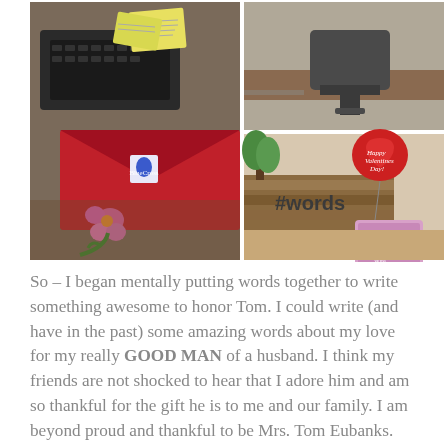[Figure (photo): Grid of photos: left large photo shows a red envelope on a desk with sticky notes on keyboard, pink flower decoration. Top right shows an office chair area. Bottom right shows an office reception with #words sign, red heart balloon, and Valentine's Day card.]
So – I began mentally putting words together to write something awesome to honor Tom. I could write (and have in the past) some amazing words about my love for my really GOOD MAN of a husband. I think my friends are not shocked to hear that I adore him and am so thankful for the gift he is to me and our family. I am beyond proud and thankful to be Mrs. Tom Eubanks.